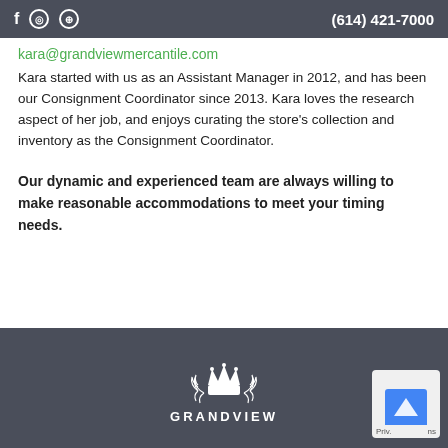f  ◎  ⊕  (614) 421-7000
kara@grandviewmercantile.com
Kara started with us as an Assistant Manager in 2012, and has been our Consignment Coordinator since 2013. Kara loves the research aspect of her job, and enjoys curating the store's collection and inventory as the Consignment Coordinator.
Our dynamic and experienced team are always willing to make reasonable accommodations to meet your timing needs.
GRANDVIEW